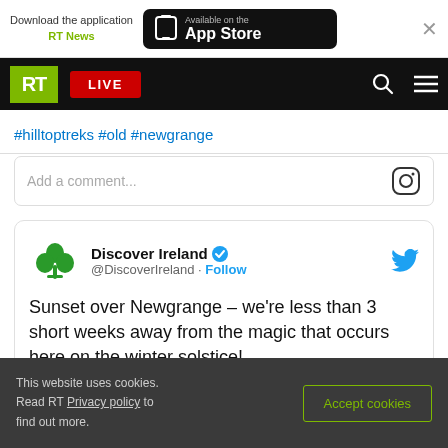[Figure (screenshot): App download banner with RT News logo, Available on the App Store button, and close X button]
[Figure (screenshot): RT navigation bar with green RT logo, red LIVE button, search icon and hamburger menu]
#hilltoptreks #old #newgrange
Add a comment...
Discover Ireland @DiscoverIreland · Follow
Sunset over Newgrange – we're less than 3 short weeks away from the magic that occurs here on the winter solstice!
This website uses cookies. Read RT Privacy policy to find out more.